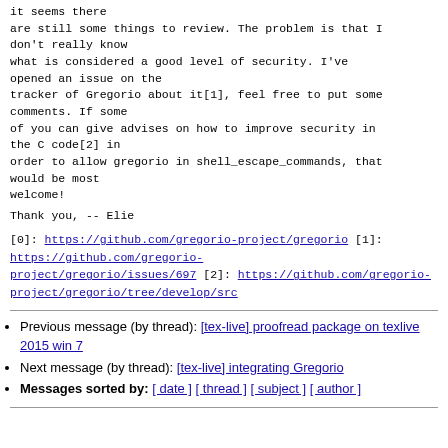it seems there are still some things to review. The problem is that I don't really know what is considered a good level of security. I've opened an issue on the tracker of Gregorio about it[1], feel free to put some comments. If some of you can give advises on how to improve security in the C code[2] in order to allow gregorio in shell_escape_commands, that would be most welcome!
Thank you,
--
Elie
[0]: https://github.com/gregorio-project/gregorio
[1]: https://github.com/gregorio-project/gregorio/issues/697
[2]: https://github.com/gregorio-project/gregorio/tree/develop/src
Previous message (by thread): [tex-live] proofread package on texlive 2015 win 7
Next message (by thread): [tex-live] integrating Gregorio
Messages sorted by: [ date ] [ thread ] [ subject ] [ author ]